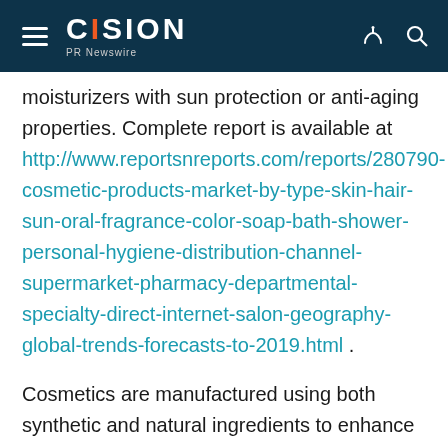CISION PR Newswire
moisturizers with sun protection or anti-aging properties. Complete report is available at http://www.reportsnreports.com/reports/280790-cosmetic-products-market-by-type-skin-hair-sun-oral-fragrance-color-soap-bath-shower-personal-hygiene-distribution-channel-supermarket-pharmacy-departmental-specialty-direct-internet-salon-geography-global-trends-forecasts-to-2019.html .
Cosmetics are manufactured using both synthetic and natural ingredients to enhance the appearance and also to maintain personal hygiene. Cosmetic